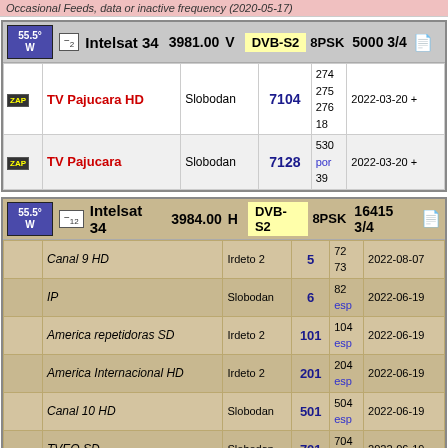Occasional Feeds, data or inactive frequency (2020-05-17)
|  | Name | Frequency | Pol | Standard | Modulation | SR FEC |
| --- | --- | --- | --- | --- | --- | --- |
| 55.5° W | Intelsat 34 | 3981.00 | V | DVB-S2 | 8PSK | 5000 3/4 |
| ZAP | TV Pajucara HD | Slobodan | 7104 | 274
275
276
18 | 2022-03-20 + |  |
| ZAP | TV Pajucara | Slobodan | 7128 | 530
por
39 | 2022-03-20 + |  |
|  | Name | Enc | SID | PIDs | Date |
| --- | --- | --- | --- | --- | --- |
| 55.5° W | Intelsat 34 | 3984.00 | H | DVB-S2 | 8PSK | 16415 3/4 |
|  | Canal 9 HD | Irdeto 2 | 5 | 72
73 | 2022-08-07 |
|  | IP | Slobodan | 6 | 82
esp | 2022-06-19 |
|  | America repetidoras SD | Irdeto 2 | 101 | 104
esp | 2022-06-19 |
|  | America Internacional HD | Irdeto 2 | 201 | 204
esp | 2022-06-19 |
|  | Canal 10 HD | Slobodan | 501 | 504
esp | 2022-06-19 |
|  | TVEO SD | Slobodan | 701 | 704
esp | 2022-06-19 |
|  | America Interior HD | Irdeto 2 | 801 | 804
esp
806
esp | 2022-06-19 |
|  |  |  |  | 914 |  |